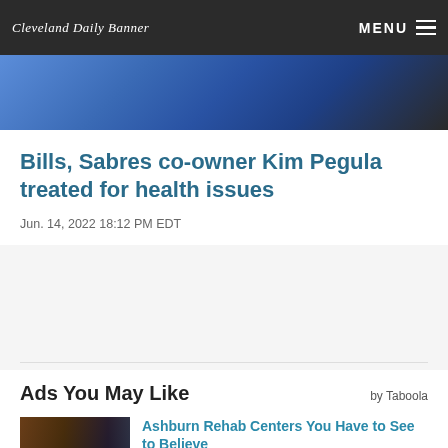Cleveland Daily Banner | MENU
[Figure (photo): Partial photo showing person in blue clothing, cropped at top]
Bills, Sabres co-owner Kim Pegula treated for health issues
Jun. 14, 2022 18:12 PM EDT
Ads You May Like
by Taboola
[Figure (photo): Two women posing in front of graffiti wall]
Ashburn Rehab Centers You Have to See to Believe